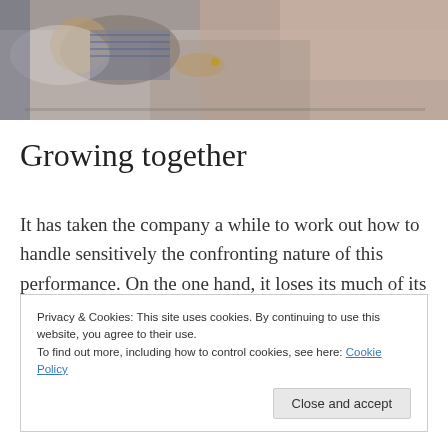[Figure (photo): Elderly person lying in bed covered with a pink/beige blanket, with a pillow behind their head, wearing a striped shirt. Another person's hand is visible holding theirs. Hospital or care home setting.]
Growing together
It has taken the company a while to work out how to handle sensitively the confronting nature of this performance. On the one hand, it loses its much of its
Privacy & Cookies: This site uses cookies. By continuing to use this website, you agree to their use.
To find out more, including how to control cookies, see here: Cookie Policy
Close and accept